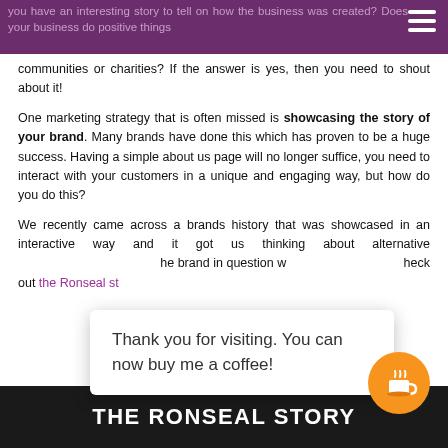you have an interesting story to tell on how the business was created? Does your business do positive things for communities or charities? If the answer is yes, then you need to shout about it!
communities or charities? If the answer is yes, then you need to shout about it!
One marketing strategy that is often missed is showcasing the story of your brand. Many brands have done this which has proven to be a huge success. Having a simple about us page will no longer suffice, you need to interact with your customers in a unique and engaging way, but how do you do this?
We recently came across a brands history that was showcased in an interactive way and it got us thinking about alternative ways to showcase the brand in question was Ronseal and you can check out the Ronseal story
Thank you for visiting. You can now buy me a coffee!
[Figure (screenshot): Bottom banner with 'THE RONSEAL STORY' text on dark background]